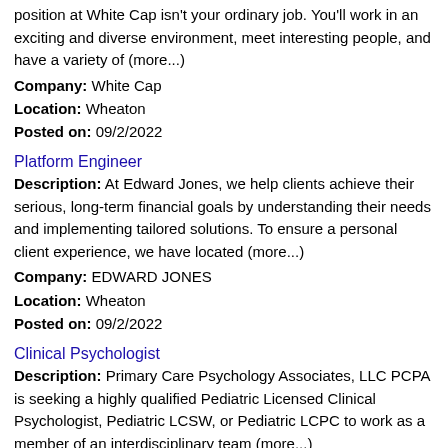position at White Cap isn't your ordinary job. You'll work in an exciting and diverse environment, meet interesting people, and have a variety of (more...)
Company: White Cap
Location: Wheaton
Posted on: 09/2/2022
Platform Engineer
Description: At Edward Jones, we help clients achieve their serious, long-term financial goals by understanding their needs and implementing tailored solutions. To ensure a personal client experience, we have located (more...)
Company: EDWARD JONES
Location: Wheaton
Posted on: 09/2/2022
Clinical Psychologist
Description: Primary Care Psychology Associates, LLC PCPA is seeking a highly qualified Pediatric Licensed Clinical Psychologist, Pediatric LCSW, or Pediatric LCPC to work as a member of an interdisciplinary team (more...)
Company: Primary Care Psychology Associates
Location: Wheaton
Posted on: 09/2/2022